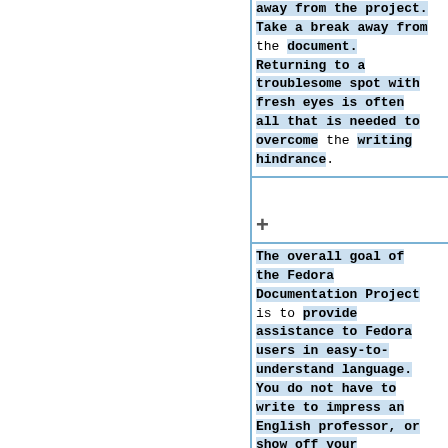away from the project. Take a break away from the document. Returning to a troublesome spot with fresh eyes is often all that is needed to overcome the writing hindrance.
The overall goal of the Fedora Documentation Project is to provide assistance to Fedora users in easy-to-understand language. You do not have to write to impress an English professor, or show off your